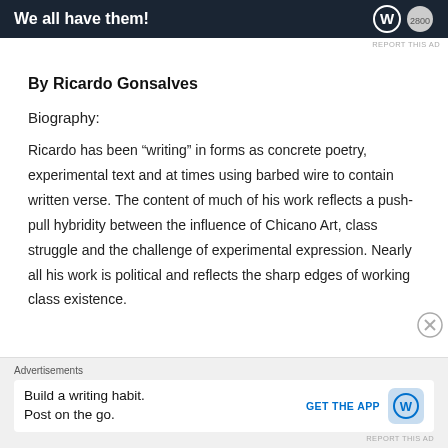[Figure (other): Top advertisement banner with dark navy background showing text 'We all have them!' with WordPress logo and circular badge]
REPORT THIS AD
By Ricardo Gonsalves
Biography:
Ricardo has been “writing” in forms as concrete poetry, experimental text and at times using barbed wire to contain written verse. The content of much of his work reflects a push-pull hybridity between the influence of Chicano Art, class struggle and the challenge of experimental expression. Nearly all his work is political and reflects the sharp edges of working class existence.
[Figure (other): Bottom advertisement banner showing WordPress app promotion: 'Build a writing habit. Post on the go.' with GET THE APP button and WordPress icon]
REPORT THIS AD